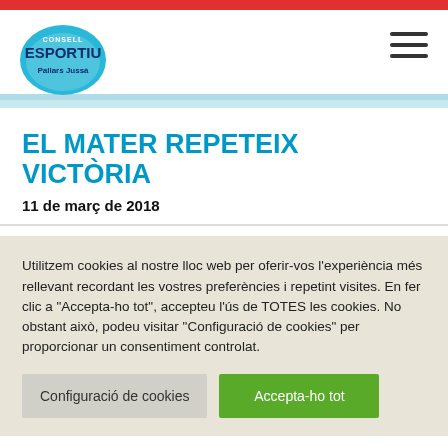[Figure (logo): Consell Esportiu Pallars Jussà logo – blue circle with text]
EL MATER REPETEIX VICTÒRIA
11 de març de 2018
Utilitzem cookies al nostre lloc web per oferir-vos l'experiència més rellevant recordant les vostres preferències i repetint visites. En fer clic a "Accepta-ho tot", accepteu l'ús de TOTES les cookies. No obstant això, podeu visitar "Configuració de cookies" per proporcionar un consentiment controlat.